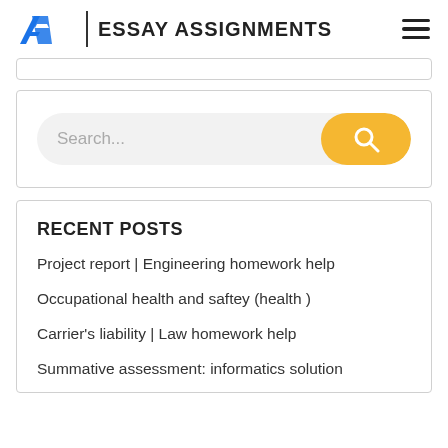EA | ESSAY ASSIGNMENTS
[Figure (screenshot): Partial card/widget top edge visible]
[Figure (screenshot): Search bar with text input placeholder 'Search...' and yellow search button]
RECENT POSTS
Project report | Engineering homework help
Occupational health and saftey (health )
Carrier's liability | Law homework help
Summative assessment: informatics solution